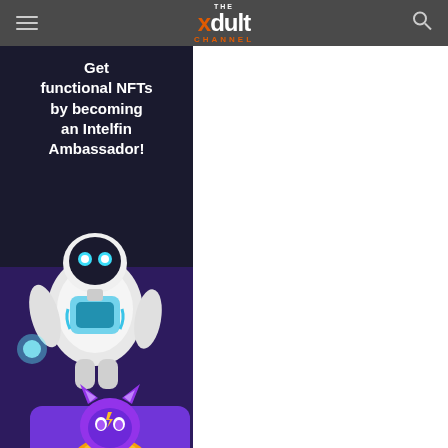THE xdult CHANNEL
[Figure (illustration): Advertisement banner for Intelfin Ambassador program. Dark background with text 'Get functional NFTs by becoming an Intelfin Ambassador!' overlaid on illustrations of a white robot character and a purple cat character.]